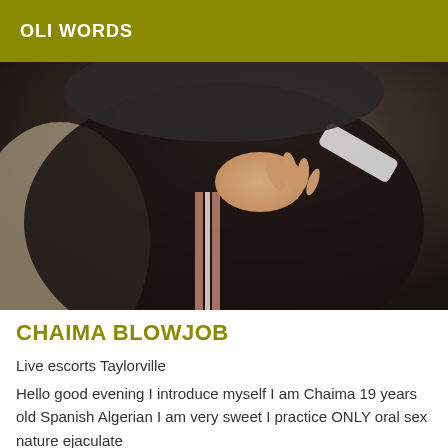OLI WORDS
[Figure (photo): Close-up photo of a person wearing dark tracksuit/jogger pants with pink/white side stripes, lying on a light-colored surface]
CHAIMA BLOWJOB
Live escorts Taylorville
Hello good evening I introduce myself I am Chaima 19 years old Spanish Algerian I am very sweet I practice ONLY oral sex nature ejaculate